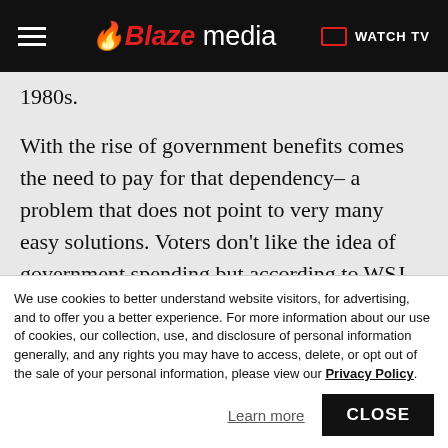Blaze media — WATCH TV
1980s.
With the rise of government benefits comes the need to pay for that dependency– a problem that does not point to very many easy solutions. Voters don't like the idea of government spending but according to WSJ, when asked what programs they would cut, there was little consensus among Americans for what they would be willing axe.
We use cookies to better understand website visitors, for advertising, and to offer you a better experience. For more information about our use of cookies, our collection, use, and disclosure of personal information generally, and any rights you may have to access, delete, or opt out of the sale of your personal information, please view our Privacy Policy.
Learn more
CLOSE